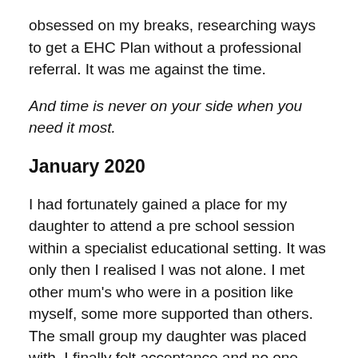obsessed on my breaks, researching ways to get a EHC Plan without a professional referral. It was me against the time.
And time is never on your side when you need it most.
January 2020
I had fortunately gained a place for my daughter to attend a pre school session within a specialist educational setting. It was only then I realised I was not alone. I met other mum's who were in a position like myself, some more supported than others. The small group my daughter was placed with, I finally felt acceptance and no one stared holes into my daughter with judging looks. The two ladies V and M who I won't name, are two